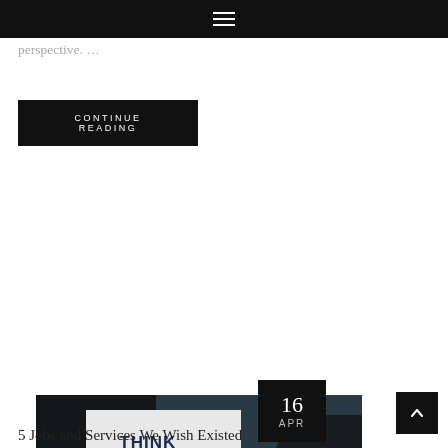≡
perspective. …
CONTINUE READING
[Figure (photo): Photo of a lightbox sign reading THINK OUTSIDE THE BOX on a dark background, with a date badge showing 16 APR in the top-right corner.]
5 Jobs and Services We Wish Existed